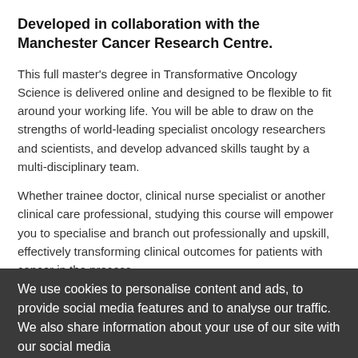Developed in collaboration with the Manchester Cancer Research Centre.
This full master’s degree in Transformative Oncology Science is delivered online and designed to be flexible to fit around your working life. You will be able to draw on the strengths of world-leading specialist oncology researchers and scientists, and develop advanced skills taught by a multi-disciplinary team.
Whether trainee doctor, clinical nurse specialist or another clinical care professional, studying this course will empower you to specialise and branch out professionally and upskill, effectively transforming clinical outcomes for patients with cancer in the process.
Our aim is for you to be able to integrate medically applicable, real-world skills directly into your workplace, as well as developing critical insight into the physical principles underpinning radiotherapy, medical imaging for radiotherapy, treatment planning
We use cookies to personalise content and ads, to provide social media features and to analyse our traffic. We also share information about your use of our site with our social media